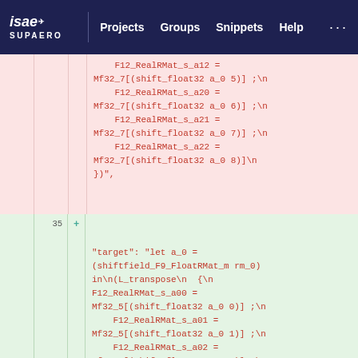isae SUPAERO | Projects | Groups | Snippets | Help
F12_RealRMat_s_a12 =
Mf32_7[(shift_float32 a_0 5)] ;\n
  F12_RealRMat_s_a20 =
Mf32_7[(shift_float32 a_0 6)] ;\n
  F12_RealRMat_s_a21 =
Mf32_7[(shift_float32 a_0 7)] ;\n
  F12_RealRMat_s_a22 =
Mf32_7[(shift_float32 a_0 8)]\n
})",
35  +  "target": "let a_0 =
(shiftfield_F9_FloatRMat_m rm_0)
in\n(L_transpose\n  {\n
F12_RealRMat_s_a00 =
Mf32_5[(shift_float32 a_0 0)] ;\n
  F12_RealRMat_s_a01 =
Mf32_5[(shift_float32 a_0 1)] ;\n
  F12_RealRMat_s_a02 =
Mf32_5[(shift_float32 a_0 2)] ;\n
  F12_RealRMat_s_a10 =